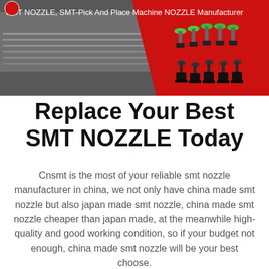[Figure (photo): Banner image showing SMT pick and place machine on the left with red background and SMT nozzles on the right. Text overlay reads: SMT NOZZLE, SMT-Pick And Place Machine NOZZLE Manufacturer]
Replace Your Best SMT NOZZLE Today
Cnsmt is the most of your reliable smt nozzle manufacturer in china, we not only have china made smt nozzle but also japan made smt nozzle, china made smt nozzle cheaper than japan made, at the meanwhile high-quality and good working condition, so if your budget not enough, china made smt nozzle will be your best choose.